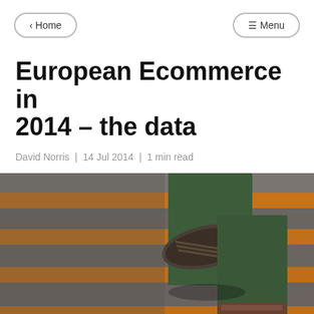< Home | ≡ Menu
European Ecommerce in 2014 - the data
David Norris | 14 Jul 2014 | 1 min read
[Figure (photo): Person climbing stairs viewed from below, wearing green pants and brown boots, with orange and grey striped steps visible]